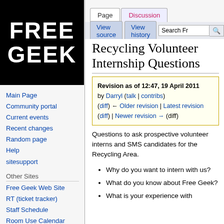Log in
[Figure (logo): Free Geek logo: white bold text 'FREE GEEK' on black background]
Main Page
Community portal
Current events
Recent changes
Random page
Help
sitesupport
Other Sites
Free Geek Web Site
RT (ticket tracker)
Staff Schedule
Room Use Calendar
FG Lessons (moodle)
Recycling Volunteer Internship Questions
Revision as of 12:47, 19 April 2011 by Darryl (talk | contribs) (diff) ← Older revision | Latest revision (diff) | Newer revision → (diff)
Questions to ask prospective volunteer interns and SMS candidates for the Recycling Area.
Why do you want to intern with us?
What do you know about Free Geek?
What is your experience with